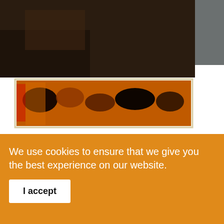[Figure (screenshot): Gray header navigation bar with orange hamburger menu icon (three horizontal lines) centered in the upper portion]
[Figure (photo): Top-left photo area showing dark background with spices and nuts (chili peppers, almonds, cloves) on orange surface, framed with cream/beige border]
[Figure (logo): Agri News Net Farming Portal logo: black curved trapezoidal banner with orange ribbon wings on sides, white text reading 'AGRI NEWS NET' and 'FARMING PORTAL' with a stylized cursive letter]
We use cookies to ensure that we give you the best experience on our website.
I accept